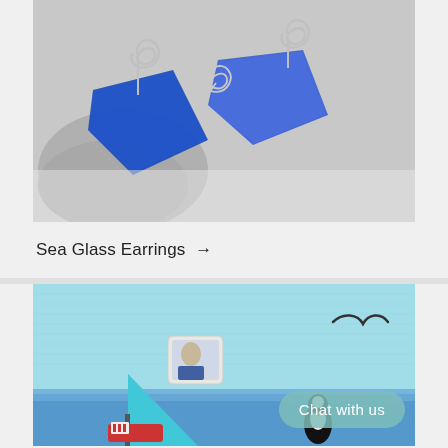[Figure (photo): Close-up photo of blue sea glass pieces wrapped with silver wire spirals, displayed on a grey stone background]
Sea Glass Earrings →
[Figure (photo): Artistic collage/diorama on light blue textured background featuring a seabird figure, a small boat with red and white details, a triangular cyan shape, a wire bird shape, and a small tile with a portrait]
Chat with us